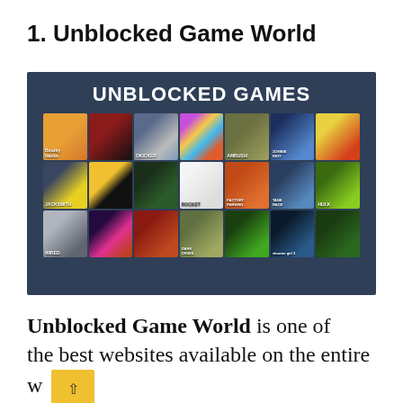1. Unblocked Game World
[Figure (screenshot): Screenshot of the Unblocked Game World website showing a dark blue banner with 'UNBLOCKED GAMES' title text and a grid of game thumbnails including JackSmith, Ambush, Zombie, Hulk, and other games arranged in three rows.]
Unblocked Game World is one of the best websites available on the entire w...